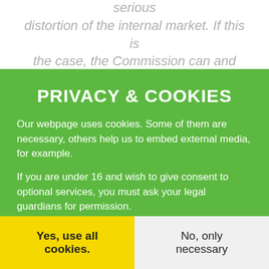is at stake here is a persistent and serious distortion of the internal market. If this is the case, the Commission can and must
PRIVACY & COOKIES
Our webpage uses cookies. Some of them are necessary, others help us to embed external media, for example.
If you are under 16 and wish to give consent to optional services, you must ask your legal guardians for permission.
We use cookies and other technologies on our website. Some of them are essential, while others help us to improve this website and
Yes, use all cookies.
No, only necessary